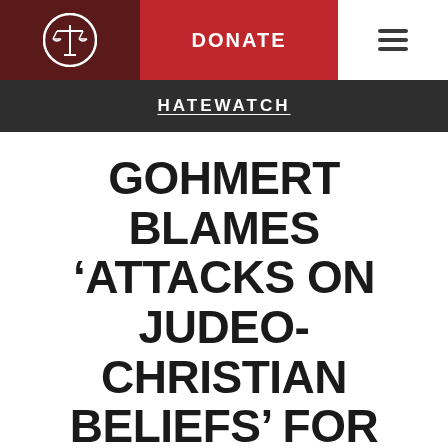DONATE
HATEWATCH
GOHMERT BLAMES ‘ATTACKS ON JUDEO-CHRISTIAN BELIEFS’ FOR COLORADO MASSACRE
July 20, 2012